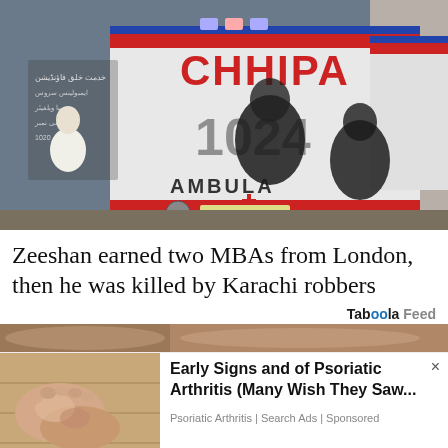[Figure (photo): Photo of a CHHIPA ambulance (number 1024) with 'AMBULANCE' written on the back, parked with people standing around it. Red and white ambulance in Pakistan.]
Zeeshan earned two MBAs from London, then he was killed by Karachi robbers
Taboola Feed
[Figure (photo): Advertisement image showing feet/ankles with signs of psoriatic arthritis on a wooden floor background.]
Early Signs and of Psoriatic Arthritis (Many Wish They Saw... Psoriatic Arthritis | Search Ads | Sponsored